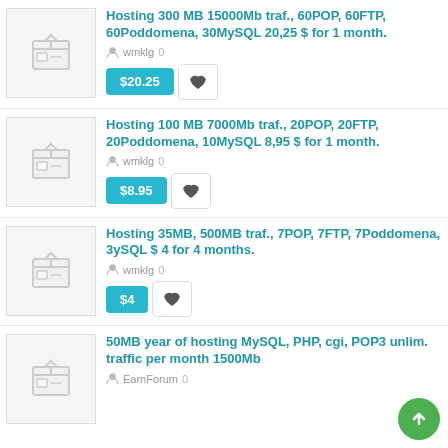Hosting 300 MB 15000Mb traf., 60POP, 60FTP, 60Poddomena, 30MySQL 20,25 $ for 1 month.
wmklg 0
$20.25
Hosting 100 MB 7000Mb traf., 20POP, 20FTP, 20Poddomena, 10MySQL 8,95 $ for 1 month.
wmklg 0
$8.95
Hosting 35MB, 500MB traf., 7POP, 7FTP, 7Poddomena, 3ySQL $ 4 for 4 months.
wmklg 0
$4
50MB year of hosting MySQL, PHP, cgi, POP3 unlim. traffic per month 1500Mb
EarnForum 0